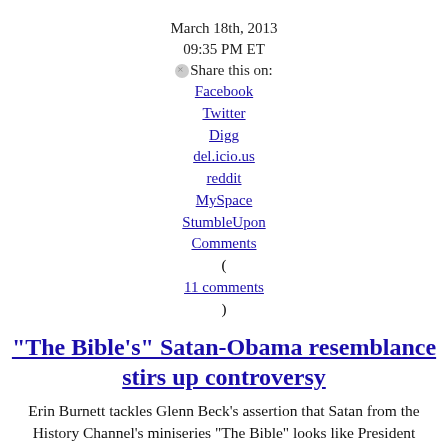March 18th, 2013
09:35 PM ET
Share this on:
Facebook
Twitter
Digg
del.icio.us
reddit
MySpace
StumbleUpon
Comments (11 comments)
"The Bible's" Satan-Obama resemblance stirs up controversy
Erin Burnett tackles Glenn Beck's assertion that Satan from the History Channel's miniseries "The Bible" looks like President Obama.
Producer: Claim of Obama-Satan likeness nonsense